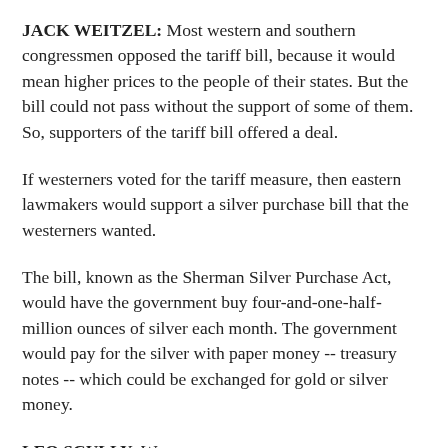JACK WEITZEL: Most western and southern congressmen opposed the tariff bill, because it would mean higher prices to the people of their states. But the bill could not pass without the support of some of them. So, supporters of the tariff bill offered a deal.
If westerners voted for the tariff measure, then eastern lawmakers would support a silver purchase bill that the westerners wanted.
The bill, known as the Sherman Silver Purchase Act, would have the government buy four-and-one-half-million ounces of silver each month. The government would pay for the silver with paper money -- treasury notes -- which could be exchanged for gold or silver money.
LEO SCULLY: W...